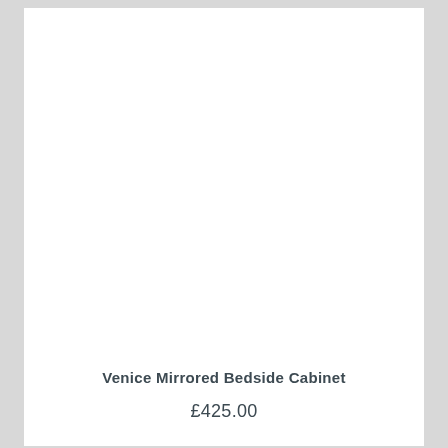[Figure (photo): Product image area — white/blank space where a photo of the Venice Mirrored Bedside Cabinet would appear]
Venice Mirrored Bedside Cabinet
£425.00